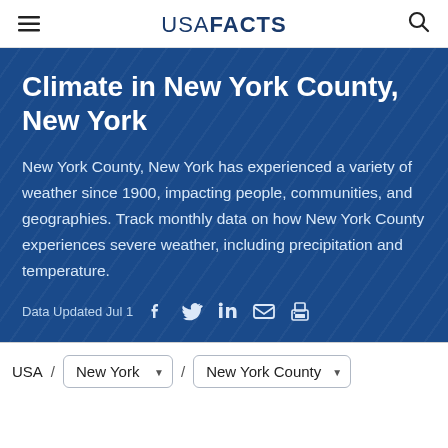USA FACTS
Climate in New York County, New York
New York County, New York has experienced a variety of weather since 1900, impacting people, communities, and geographies. Track monthly data on how New York County experiences severe weather, including precipitation and temperature.
Data Updated Jul 1
USA / New York / New York County